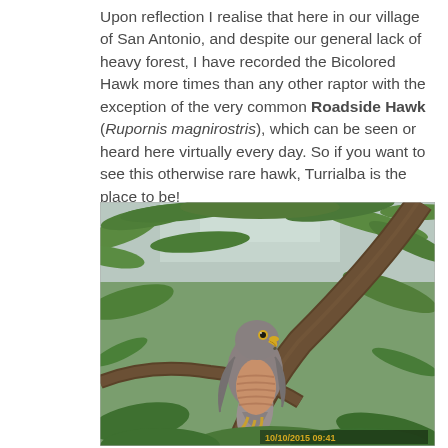Upon reflection I realise that here in our village of San Antonio, and despite our general lack of heavy forest, I have recorded the Bicolored Hawk more times than any other raptor with the exception of the very common Roadside Hawk (Rupornis magnirostris), which can be seen or heard here virtually every day. So if you want to see this otherwise rare hawk, Turrialba is the place to be!
[Figure (photo): Photograph of a Roadside Hawk (Rupornis magnirostris) perched on a branch amid green foliage, taken on 10/10/2015 09:41]